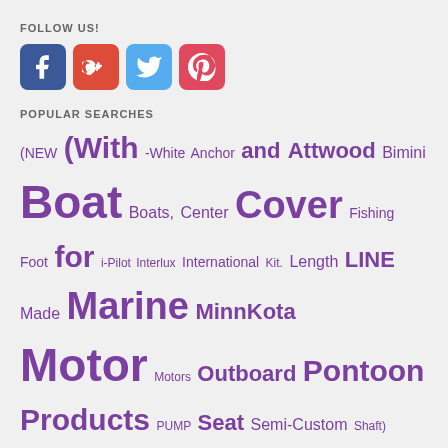FOLLOW US!
[Figure (illustration): Social media icons: Facebook (blue), Google+ (red), Twitter (light blue), Pinterest (pink/red)]
POPULAR SEARCHES
(NEW (With -White Anchor and Attwood Bimini Boat Boats, Center Cover Fishing Foot for i-Pilot Interlux International Kit. Length LINE Made Marine MinnKota Motor Motors Outboard Pontoon Products PUMP Seat Semi-Custom Shaft) Sierra Stainless Steel Taylor Thrust Tilt to Top Towable Trailerite Trim Trolling Tube
SEARCH OUR SITE